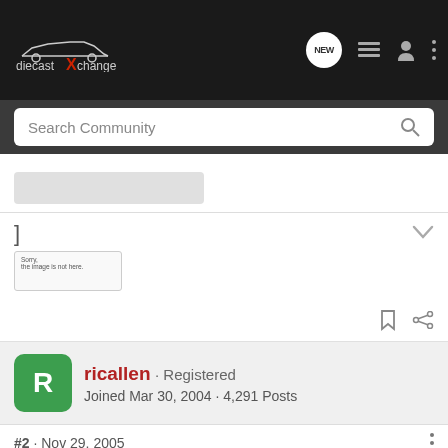diecastXchange — Search Community
ricallen · Registered
Joined Mar 30, 2004 · 4,291 Posts
#2 · Nov 29, 2005
The canvas effect is really one of my favorites in PS. Very nice touch there, Air! :cheers